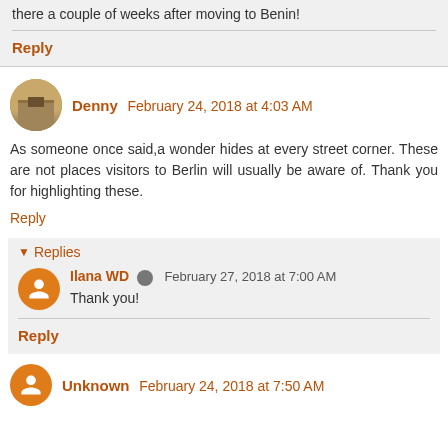there a couple of weeks after moving to Benin!
Reply
Denny  February 24, 2018 at 4:03 AM
As someone once said,a wonder hides at every street corner. These are not places visitors to Berlin will usually be aware of. Thank you for highlighting these.
Reply
Replies
Ilana WD  February 27, 2018 at 7:00 AM
Thank you!
Reply
Unknown  February 24, 2018 at 7:50 AM